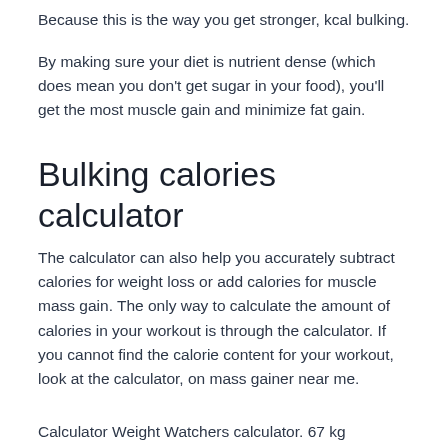Because this is the way you get stronger, kcal bulking.
By making sure your diet is nutrient dense (which does mean you don't get sugar in your food), you'll get the most muscle gain and minimize fat gain.
Bulking calories calculator
The calculator can also help you accurately subtract calories for weight loss or add calories for muscle mass gain. The only way to calculate the amount of calories in your workout is through the calculator. If you cannot find the calorie content for your workout, look at the calculator, on mass gainer near me.
Calculator Weight Watchers calculator. 67 kg